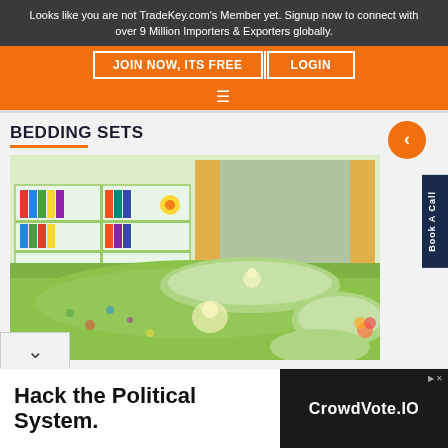Looks like you are not TradeKey.com's Member yet. Signup now to connect with over 9 Million Importers & Exporters globally.
JOIN NOW, ITS FREE
LOGIN
BEDDING SETS
[Figure (photo): Green bedding set with cartoon bear print, displayed on a bed with matching green pillows, colorful bookshelf in background]
Book A Call
Hack the Political System.
CrowdVote.IO